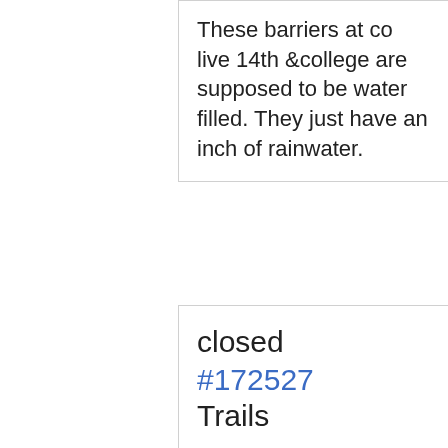These barriers at co live 14th &college are supposed to be water filled. They just have an inch of rainwater.
closed #172527 Trails
Case Date: 5/22/2
Question: when do you exoect to turn